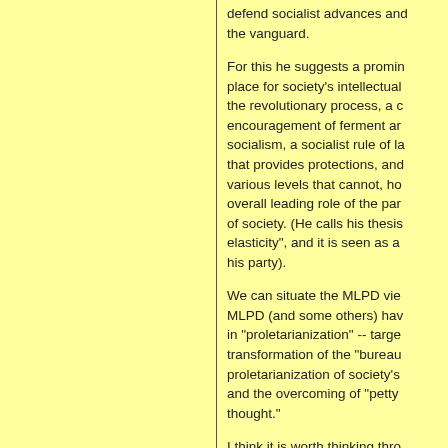defend socialist advances and the vanguard.
For this he suggests a prominent place for society's intellectuals in the revolutionary process, a careful encouragement of ferment and debate in socialism, a socialist rule of law that provides protections, and various levels that cannot, however, overall leading role of the party in all of society. (He calls his thesis "elasticity", and it is seen as a ... his party).
We can situate the MLPD vie... MLPD (and some others) have in "proletarianization" -- transformation of the "bureau... proletarianization of society's and the overcoming of "petty thought."
I think it is worth thinking thro... between this concept of "pro...